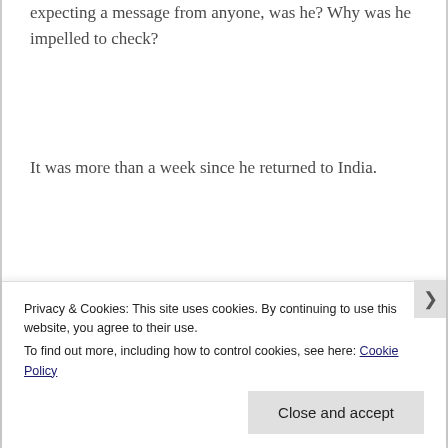expecting a message from anyone, was he? Why was he impelled to check?
It was more than a week since he returned to India.
It was more than a week since he texted her that
he had reached home.
Privacy & Cookies: This site uses cookies. By continuing to use this website, you agree to their use.
To find out more, including how to control cookies, see here: Cookie Policy
Close and accept